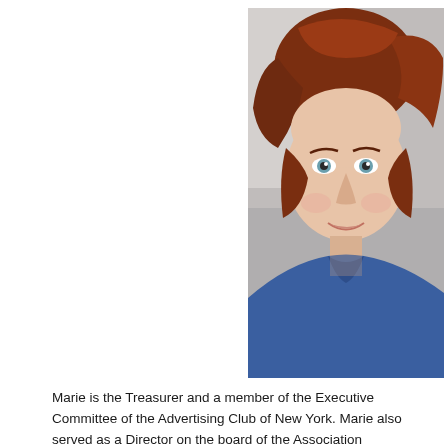[Figure (photo): Professional headshot of a woman with short auburn/red hair and blue eyes, smiling, wearing a blue top, against a grey background.]
Marie is the Treasurer and a member of the Executive Committee of the Advertising Club of New York. Marie also served as a Director on the board of the Association